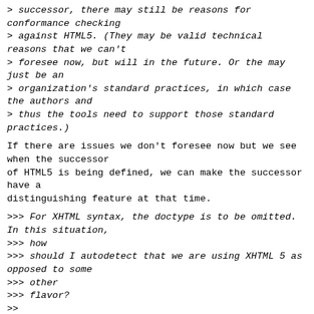> successor, there may still be reasons for conformance checking
> against HTML5. (They may be valid technical reasons that we can't
> foresee now, but will in the future. Or the may just be an
> organization's standard practices, in which case the authors and
> thus the tools need to support those standard practices.)
If there are issues we don't foresee now but we see when the successor
of HTML5 is being defined, we can make the successor have a
distinguishing feature at that time.
>>> For XHTML syntax, the doctype is to be omitted. In this situation,
>>> how
>>> should I autodetect that we are using XHTML 5 as opposed to some
>>> other
>>> flavor?
>>
>> By design, you shouldn't. Validator.nu defaults to XHTML5 + SVG 1.1
>> + MathML 2.0 for application/xhtml+xml. I suggest doing the same
>> for .xhtml (assuming that the tool in question is a